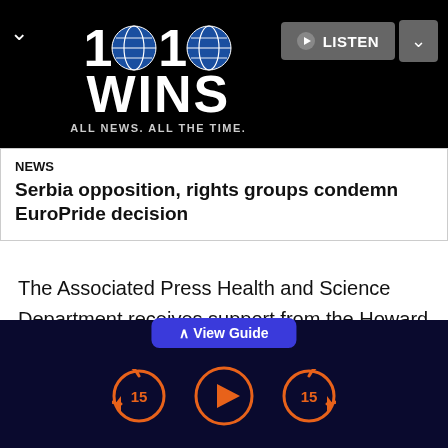[Figure (logo): 1010 WINS radio station logo with globe icons. Text: '1010 WINS ALL NEWS. ALL THE TIME.' with a LISTEN button and chevron dropdown on a black header bar.]
NEWS
Serbia opposition, rights groups condemn EuroPride decision
The Associated Press Health and Science Department receives support from the Howard Hughes Medical Institute's Department of Science Education. The AP is solely responsible for all content.
[Figure (screenshot): Bottom media player bar with 'View Guide' tab, skip-back 15, play, and skip-forward 15 controls in orange on a dark navy background.]